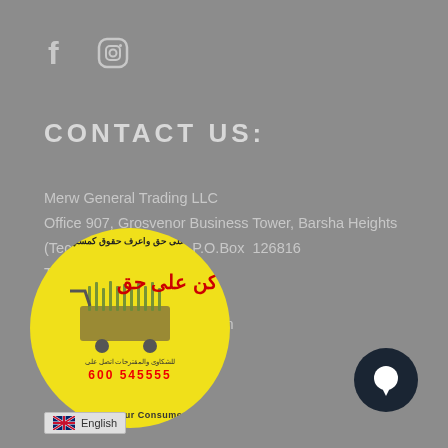[Figure (illustration): Facebook and Instagram social media icons in light grey/white on grey background]
CONTACT US:
Merw General Trading LLC
Office 907, Grosvenor Business Tower, Barsha Heights (Tecom), Dubai/UAE   P.O.Box  126816
Tel: +971563220040
e-mail: care@merwstore.com
[Figure (logo): Yellow circular badge with Arabic text, shopping cart illustration, 'Be Right Know Your Consumer Rights' text, and phone number 600 545555 in red]
[Figure (illustration): Dark circular chat bubble icon]
English